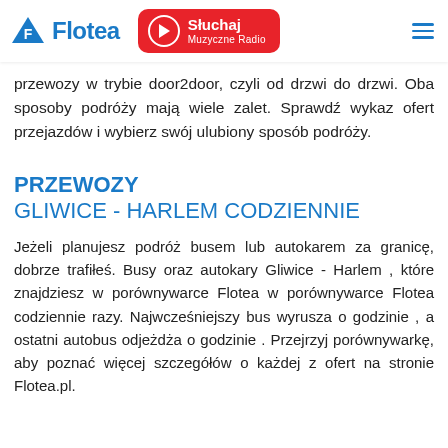przewoznikow. To pozwala ci takze i latwo porównywac koszty i warunki podróży. Obecnie w flotea przedstawiamy ofert przewozów. Wsród nic jzdy autobusowe, jak i przewozy w trybie door2door, czyli od drzwi do drzwi. Oba sposoby podróży mają wiele zalet. Sprawdź wykaz ofert przejazdów i wybierz swój ulubiony sposób podróży.
[Figure (logo): Flotea logo with blue F triangle icon and Flotea text in blue]
[Figure (infographic): Red radio pill button with play icon, Słuchaj label and Muzyczne Radio subtitle]
PRZEWOZY
GLIWICE - HARLEM CODZIENNIE
Jeżeli planujesz podróż busem lub autokarem za granicę, dobrze trafiłeś. Busy oraz autokary Gliwice - Harlem , które znajdziesz w porównywarce Flotea w porównywarce Flotea codziennie razy. Najwcześniejszy bus wyrusza o godzinie , a ostatni autobus odjeżdża o godzinie . Przejrzyj porównywarkę, aby poznać więcej szczegółów o każdej z ofert na stronie Flotea.pl.